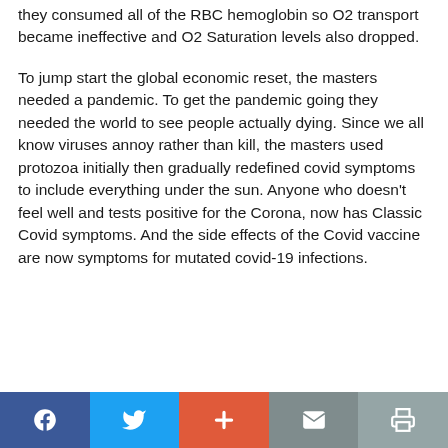they consumed all of the RBC hemoglobin so O2 transport became ineffective and O2 Saturation levels also dropped.
To jump start the global economic reset, the masters needed a pandemic. To get the pandemic going they needed the world to see people actually dying. Since we all know viruses annoy rather than kill, the masters used protozoa initially then gradually redefined covid symptoms to include everything under the sun. Anyone who doesn't feel well and tests positive for the Corona, now has Classic Covid symptoms. And the side effects of the Covid vaccine are now symptoms for mutated covid-19 infections.
Facebook | Twitter | + | Mail | Print